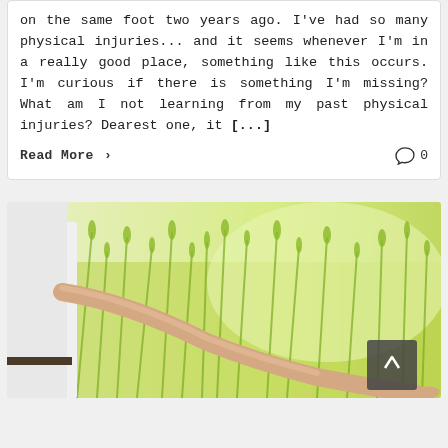on the same foot two years ago. I've had so many physical injuries... and it seems whenever I'm in a really good place, something like this occurs. I'm curious if there is something I'm missing? What am I not learning from my past physical injuries? Dearest one, it [...]
Read More > 0
[Figure (photo): Person in white shirt touching tall green grass/wheat field with outstretched hand]